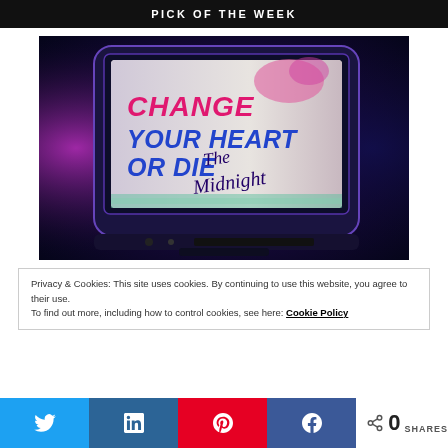PICK OF THE WEEK
[Figure (photo): Retro CRT television displaying text 'CHANGE YOUR HEART OR DIE' with signature 'The Midnight' on screen, glowing in purple/blue neon lighting background]
Privacy & Cookies: This site uses cookies. By continuing to use this website, you agree to their use. To find out more, including how to control cookies, see here: Cookie Policy
0 SHARES